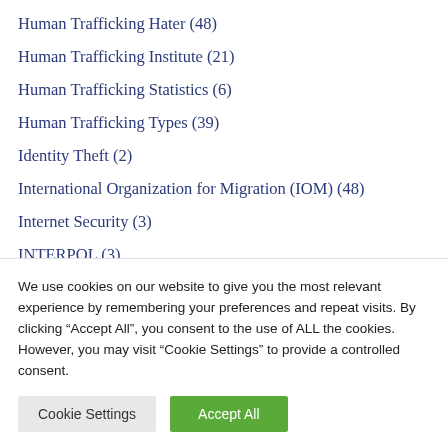Human Trafficking Hater (48)
Human Trafficking Institute (21)
Human Trafficking Statistics (6)
Human Trafficking Types (39)
Identity Theft (2)
International Organization for Migration (IOM) (48)
Internet Security (3)
INTERPOL (3)
Iowa Network Against Human Trafficking and Slavery
We use cookies on our website to give you the most relevant experience by remembering your preferences and repeat visits. By clicking “Accept All”, you consent to the use of ALL the cookies. However, you may visit “Cookie Settings” to provide a controlled consent.
Cookie Settings | Accept All